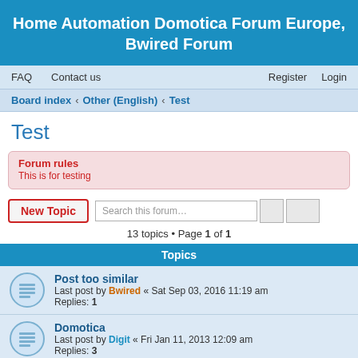Home Automation Domotica Forum Europe, Bwired Forum
FAQ   Contact us   Register   Login
Board index › Other (English) › Test
Test
Forum rules
This is for testing
New Topic   Search this forum…   13 topics • Page 1 of 1
Topics
Post too similar
Last post by Bwired « Sat Sep 03, 2016 11:19 am
Replies: 1
Domotica
Last post by Digit « Fri Jan 11, 2013 12:09 am
Replies: 3
Post too similar
Last post by Noel « Thu Jul 08, 2010 7:44 am
Replies: 1